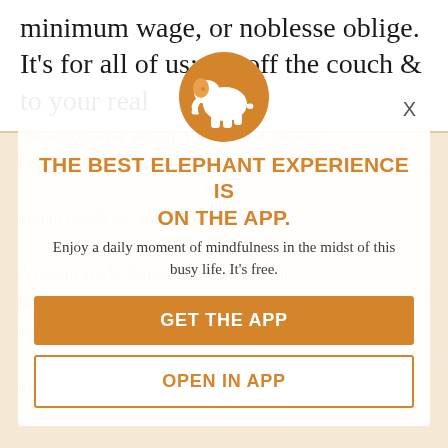minimum wage, or noblesse oblige. It's for all of us: get off the couch & to your real
[Figure (logo): Orange circular elephant logo for the Elephant Journal app]
THE BEST ELEPHANT EXPERIENCE IS ON THE APP.
Enjoy a daily moment of mindfulness in the midst of this busy life. It's free.
GET THE APP
OPEN IN APP